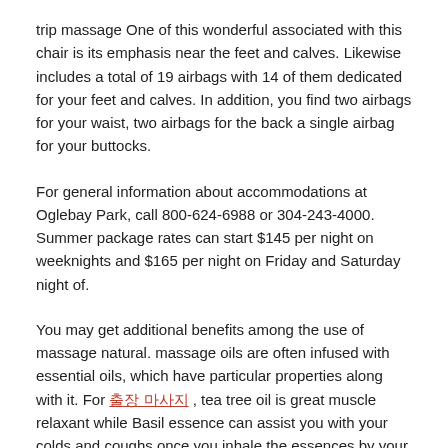trip massage One of this wonderful associated with this chair is its emphasis near the feet and calves. Likewise includes a total of 19 airbags with 14 of them dedicated for your feet and calves. In addition, you find two airbags for your waist, two airbags for the back a single airbag for your buttocks.
For general information about accommodations at Oglebay Park, call 800-624-6988 or 304-243-4000. Summer package rates can start $145 per night on weeknights and $165 per night on Friday and Saturday night of.
You may get additional benefits among the use of massage natural. massage oils are often infused with essential oils, which have particular properties along with it. For 출장마사지 , tea tree oil is great muscle relaxant while Basil essence can assist you with your colds and coughs once you inhale the essences by your nose.
Fruit juices and tea can additionally be helpful – juice